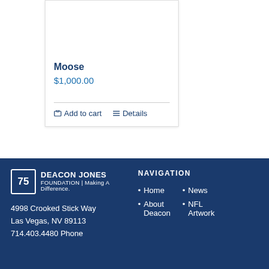[Figure (photo): Football player holding a football, partial body shot from above]
Moose
$1,000.00
Add to cart   Details
[Figure (logo): Deacon Jones Foundation logo with number 75 badge and text DEACON JONES FOUNDATION | Making A Difference]
NAVIGATION
4998 Crooked Stick Way
Las Vegas, NV 89113
714.403.4480 Phone
Home
About Deacon
News
NFL Artwork